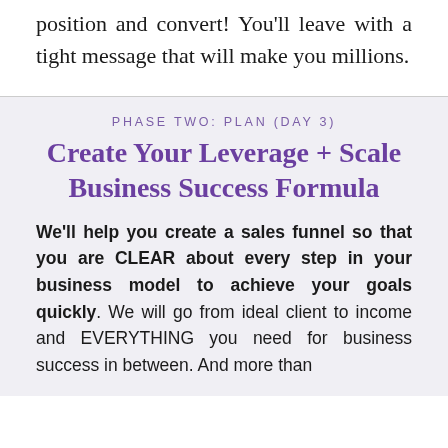position and convert! You'll leave with a tight message that will make you millions.
PHASE TWO: PLAN (DAY 3)
Create Your Leverage + Scale Business Success Formula
We'll help you create a sales funnel so that you are CLEAR about every step in your business model to achieve your goals quickly. We will go from ideal client to income and EVERYTHING you need for business success in between. And more than